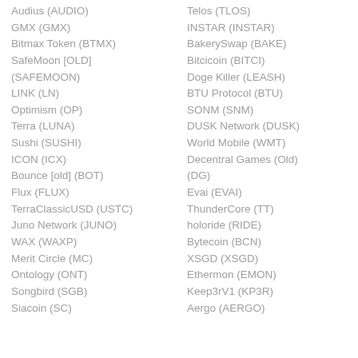Audius (AUDIO)
GMX (GMX)
Bitmax Token (BTMX)
SafeMoon [OLD] (SAFEMOON)
LINK (LN)
Optimism (OP)
Terra (LUNA)
Sushi (SUSHI)
ICON (ICX)
Bounce [old] (BOT)
Flux (FLUX)
TerraClassicUSD (USTC)
Juno Network (JUNO)
WAX (WAXP)
Merit Circle (MC)
Ontology (ONT)
Songbird (SGB)
Siacoin (SC)
Telos (TLOS)
INSTAR (INSTAR)
BakerySwap (BAKE)
Bitcicoin (BITCI)
Doge Killer (LEASH)
BTU Protocol (BTU)
SONM (SNM)
DUSK Network (DUSK)
World Mobile (WMT)
Decentral Games (Old) (DG)
Evai (EVAI)
ThunderCore (TT)
holoride (RIDE)
Bytecoin (BCN)
XSGD (XSGD)
Ethermon (EMON)
Keep3rV1 (KP3R)
Aergo (AERGO)